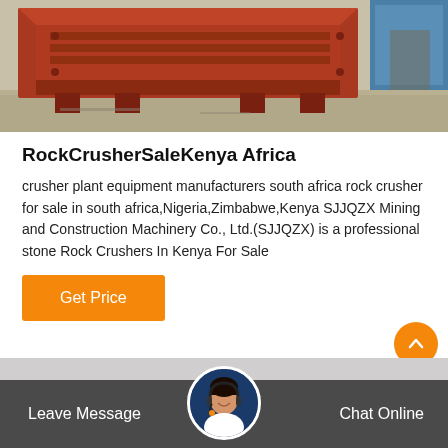[Figure (photo): Industrial rock crusher machine in red/rust color on a concrete floor, with blue container visible in background]
RockCrusherSaleKenya Africa
crusher plant equipment manufacturers south africa rock crusher for sale in south africa,Nigeria,Zimbabwe,Kenya SJJQZX Mining and Construction Machinery Co., Ltd.(SJJQZX) is a professional stone Rock Crushers In Kenya For Sale
Get Price
Leave Message   Chat Online